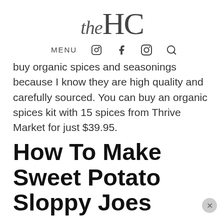the HC
MENU (nav bar with icons)
buy organic spices and seasonings because I know they are high quality and carefully sourced. You can buy an organic spices kit with 15 spices from Thrive Market for just $39.95.
How To Make Sweet Potato Sloppy Joes
Preheat your oven to 400 degrees. Start by washing and drying your sweet potatoes. Poke a5 holes on each side of the sweet potato.